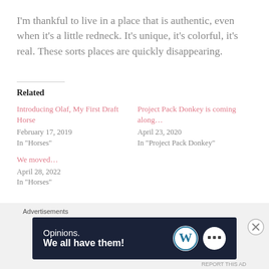I'm thankful to live in a place that is authentic, even when it's a little redneck. It's unique, it's colorful, it's real. These sorts places are quickly disappearing.
Related
Introducing Olaf, My First Draft Horse
February 17, 2019
In "Horses"
Project Pack Donkey is coming along…
April 23, 2020
In "Project Pack Donkey"
We moved…
April 28, 2022
In "Horses"
[Figure (other): WordPress advertisement banner with text 'Opinions. We all have them!' and WordPress and another logo on dark navy background]
Advertisements
REPORT THIS AD